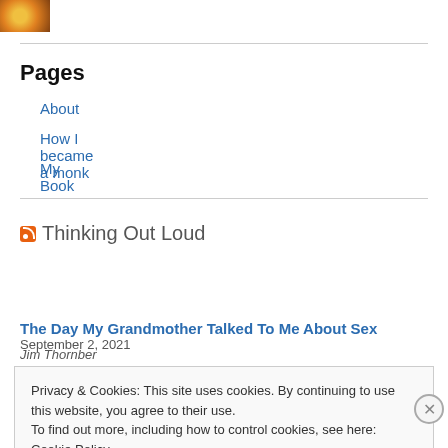[Figure (photo): Small cropped photo of a food or decorative item in top-left corner]
Pages
About
How I became a monk
My Book
Thinking Out Loud
The Day My Grandmother Talked To Me About Sex   September 2, 2021
Jim Thornber
Privacy & Cookies: This site uses cookies. By continuing to use this website, you agree to their use.
To find out more, including how to control cookies, see here: Cookie Policy
Close and accept